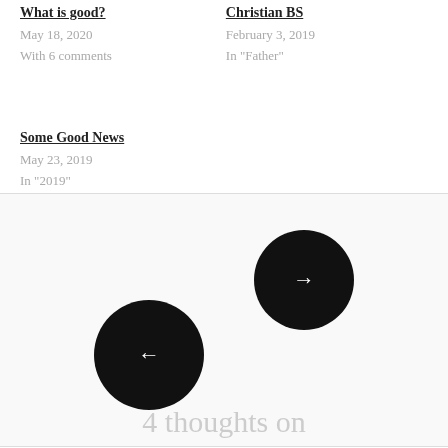What is good?
May 18, 2020
With 6 comments
Christian BS
February 3, 2019
In "Father"
Some Good News
May 23, 2019
In "2019"
[Figure (other): Navigation buttons: two overlapping black circular buttons, one with a right arrow (next) and one with a left arrow (previous)]
4 thoughts on